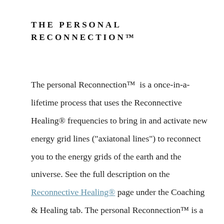THE PERSONAL RECONNECTION™
The personal Reconnection™ is a once-in-a-lifetime process that uses the Reconnective Healing® frequencies to bring in and activate new energy grid lines ("axiatonal lines") to reconnect you to the energy grids of the earth and the universe. See the full description on the Reconnective Healing® page under the Coaching & Healing tab. The personal Reconnection™ is a two-session process (completed within 4-5 days) that I do in my office in Virginia Beach, VA. I